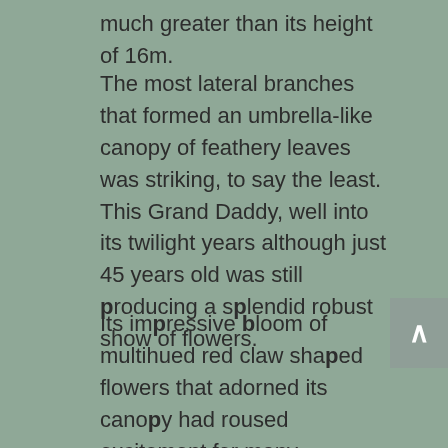much greater than its height of 16m.
The most lateral branches that formed an umbrella-like canopy of feathery leaves was striking, to say the least. This Grand Daddy, well into its twilight years although just 45 years old was still producing a splendid robust show of flowers.
Its impressive bloom of multihued red claw shaped flowers that adorned its canopy had roused excitement for many passers-by for decades. As superlative examples of decorative trees go, this would have to be right up there with the best of them.